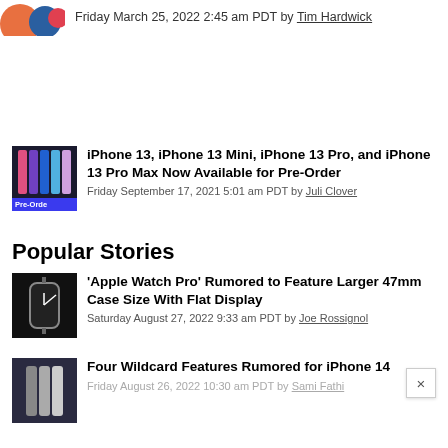Friday March 25, 2022 2:45 am PDT by Tim Hardwick
iPhone 13, iPhone 13 Mini, iPhone 13 Pro, and iPhone 13 Pro Max Now Available for Pre-Order
Friday September 17, 2021 5:01 am PDT by Juli Clover
Popular Stories
'Apple Watch Pro' Rumored to Feature Larger 47mm Case Size With Flat Display
Saturday August 27, 2022 9:33 am PDT by Joe Rossignol
Four Wildcard Features Rumored for iPhone 14
Friday August 26, 2022 10:30 am PDT by Sami Fathi